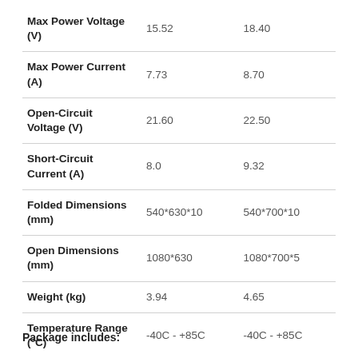|  | Col1 | Col2 |
| --- | --- | --- |
| Max Power Voltage (V) | 15.52 | 18.40 |
| Max Power Current (A) | 7.73 | 8.70 |
| Open-Circuit Voltage (V) | 21.60 | 22.50 |
| Short-Circuit Current (A) | 8.0 | 9.32 |
| Folded Dimensions (mm) | 540*630*10 | 540*700*10 |
| Open Dimensions (mm) | 1080*630 | 1080*700*5 |
| Weight (kg) | 3.94 | 4.65 |
| Temperature Range (°C) | -40C - +85C | -40C - +85C |
Package includes: